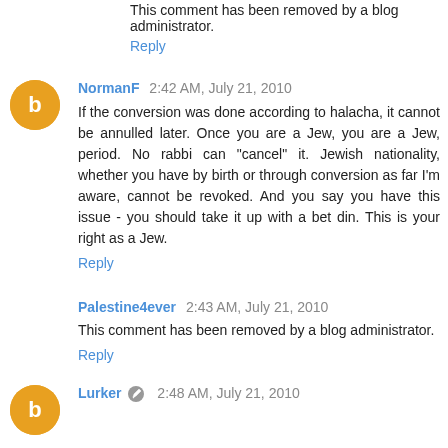This comment has been removed by a blog administrator.
Reply
NormanF 2:42 AM, July 21, 2010
If the conversion was done according to halacha, it cannot be annulled later. Once you are a Jew, you are a Jew, period. No rabbi can "cancel" it. Jewish nationality, whether you have by birth or through conversion as far I'm aware, cannot be revoked. And you say you have this issue - you should take it up with a bet din. This is your right as a Jew.
Reply
Palestine4ever 2:43 AM, July 21, 2010
This comment has been removed by a blog administrator.
Reply
Lurker 2:48 AM, July 21, 2010